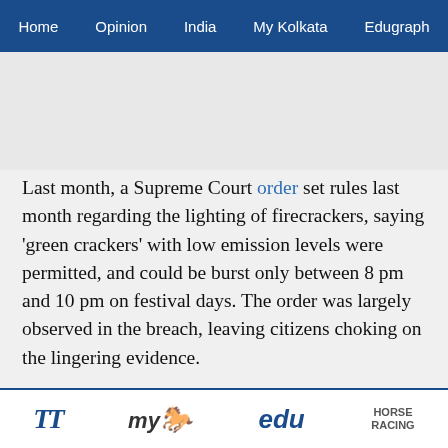Home | Opinion | India | My Kolkata | Edugraph
[Figure (other): Advertisement placeholder area (gray background)]
Last month, a Supreme Court order set rules last month regarding the lighting of firecrackers, saying 'green crackers' with low emission levels were permitted, and could be burst only between 8 pm and 10 pm on festival days. The order was largely observed in the breach, leaving citizens choking on the lingering evidence.
It is well known that air pollution in North India peaks at dangerous levels around festival time. This year, the national capital was enveloped in a thick smog well before Diwali, which fell on Tuesday, November 7. This was largely due to the burning of crop stubble in parts
TT | my | edu | HORSE RACING